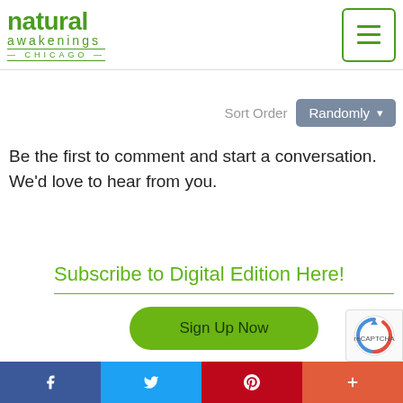natural awakenings CHICAGO
Sort Order Randomly
Be the first to comment and start a conversation. We'd love to hear from you.
Subscribe to Digital Edition Here!
Sign Up Now
Facebook Twitter Pinterest Plus